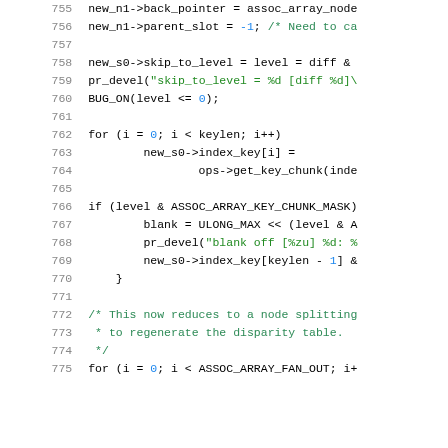[Figure (screenshot): Source code listing showing lines 755-775 of C code. Line numbers in gray on left, code in monospace font with syntax highlighting: identifiers in black, string literals and comments in green, numeric literals in blue.]